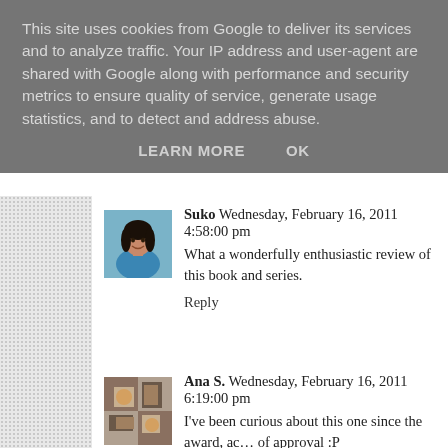This site uses cookies from Google to deliver its services and to analyze traffic. Your IP address and user-agent are shared with Google along with performance and security metrics to ensure quality of service, generate usage statistics, and to detect and address abuse.
LEARN MORE   OK
Suko  Wednesday, February 16, 2011 4:58:00 pm
What a wonderfully enthusiastic review of this book and series.
Reply
Ana S.  Wednesday, February 16, 2011 6:19:00 pm
I've been curious about this one since the award, ac... of approval :P
Reply